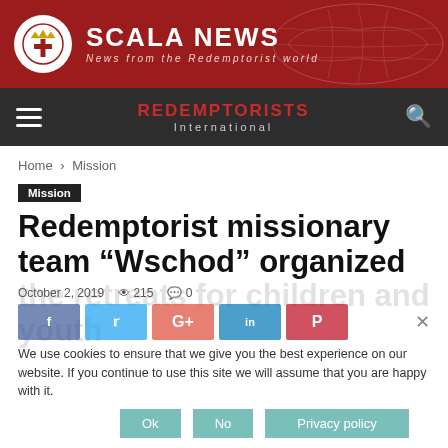SCALA NEWS — News from the Redemptorist world
REDEMPTORISTS International
Home › Mission
Mission
Redemptorist missionary team “Wschod” organized the retreats for children and youth
October 2, 2019  👁 215  💬 0
We use cookies to ensure that we give you the best experience on our website. If you continue to use this site we will assume that you are happy with it.